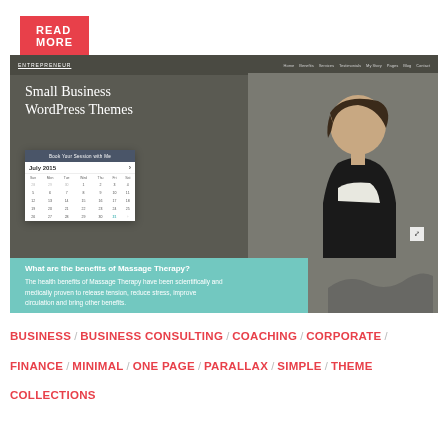[Figure (screenshot): Red READ MORE button at top left]
[Figure (screenshot): Screenshot of Entrepreneur WordPress theme showing a small business woman hero image with a calendar widget for July 2015, navigation bar, teal section with massage therapy text]
BUSINESS / BUSINESS CONSULTING / COACHING / CORPORATE / FINANCE / MINIMAL / ONE PAGE / PARALLAX / SIMPLE / THEME COLLECTIONS